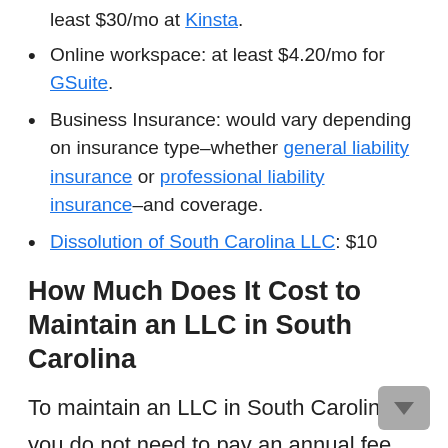least $30/mo at Kinsta.
Online workspace: at least $4.20/mo for GSuite.
Business Insurance: would vary depending on insurance type–whether general liability insurance or professional liability insurance–and coverage.
Dissolution of South Carolina LLC: $10
How Much Does It Cost to Maintain an LLC in South Carolina
To maintain an LLC in South Carolina you do not need to pay an annual fee. However, state income tax at 3% to 7.9%, sales & use tax at 6% and federal taxes are levied.